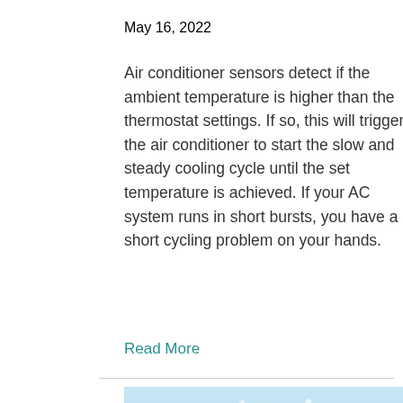May 16, 2022
Air conditioner sensors detect if the ambient temperature is higher than the thermostat settings. If so, this will trigger the air conditioner to start the slow and steady cooling cycle until the set temperature is achieved. If your AC system runs in short bursts, you have a short cycling problem on your hands.
Read More
[Figure (photo): Water surface splash photo showing rippling water with light blue tones at the bottom of the page]